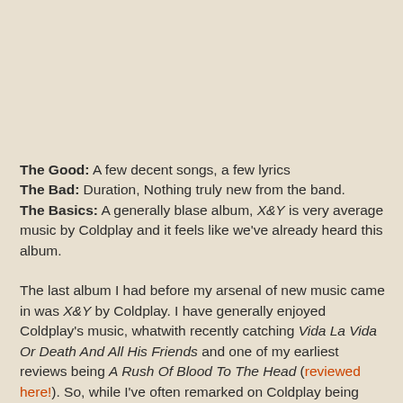The Good: A few decent songs, a few lyrics
The Bad: Duration, Nothing truly new from the band.
The Basics: A generally blase album, X&Y is very average music by Coldplay and it feels like we've already heard this album.
The last album I had before my arsenal of new music came in was X&Y by Coldplay. I have generally enjoyed Coldplay's music, whatwith recently catching Vida La Vida Or Death And All His Friends and one of my earliest reviews being A Rush Of Blood To The Head (reviewed here!). So, while I've often remarked on Coldplay being derivative of itself or other